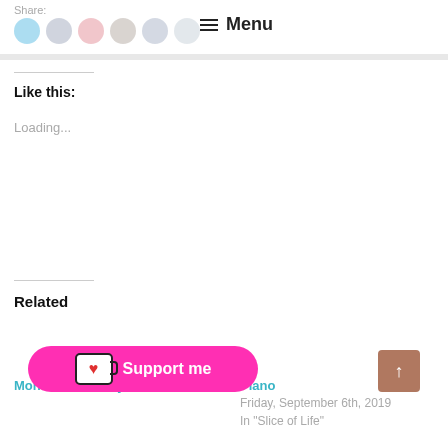Share: [social icons] Menu
Like this:
Loading...
Related
Monochrome May
Piano
Friday, September 6th, 2019
In "Slice of Life"
Support me
↑